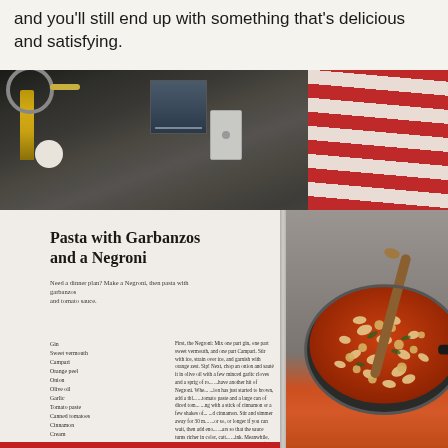and you'll still end up with something that's delicious and satisfying.
[Figure (photo): A photograph showing a kitchen counter scene (top half) and an open cookbook (bottom half). The cookbook shows a recipe page for 'Pasta with Garbanzos and a Negroni' on the left page and a food photo of pasta in a pan on the right page. The kitchen counter background includes dark tile, a light switch plate, a red-and-white striped cloth, a gold olive oil bottle, and a white canister.]